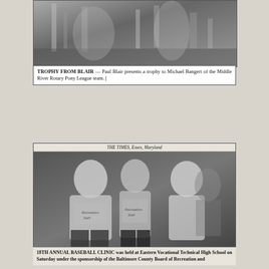[Figure (photo): Black and white photo showing a trophy presentation scene, partially cut off at top]
TROPHY FROM BLAIR — Paul Blair presents a trophy to Michael Bangert of the Middle River Rotary Pony League team.
[Figure (photo): Black and white newspaper photo from THE TIMES, Essex, Maryland, showing three men posing together, two wearing Recreation staff t-shirts]
18TH ANNUAL BASEBALL CLINIC was held at Eastern Vocational Technical High School on Saturday under the sponsorship of the Baltimore County Board of Recreation and